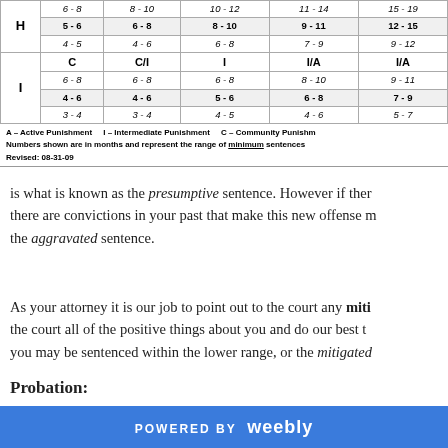|  | Col1 | Col2 | Col3 | Col4 | Col5 |
| --- | --- | --- | --- | --- | --- |
| H | 6 - 8 | 8 - 10 | 10 - 12 | 11 - 14 | 15 - 19 |
| H | 5 - 6 | 6 - 8 | 8 - 10 | 9 - 11 | 12 - 15 |
| H | 4 - 5 | 4 - 6 | 6 - 8 | 7 - 9 | 9 - 12 |
| I | C | C/I | I | I/A | I/A |
| I | 6 - 8 | 6 - 8 | 6 - 8 | 8 - 10 | 9 - 11 |
| I | 4 - 6 | 4 - 6 | 5 - 6 | 6 - 8 | 7 - 9 |
| I | 3 - 4 | 3 - 4 | 4 - 5 | 4 - 6 | 5 - 7 |
A – Active Punishment    I – Intermediate Punishment    C – Community Punishment
Numbers shown are in months and represent the range of minimum sentences
Revised: 08-31-09
is what is known as the presumptive sentence. However if there are convictions in your past that make this new offense more serious, the aggravated sentence.
As your attorney it is our job to point out to the court any mitigating factors, tell the court all of the positive things about you and do our best to convince the court you may be sentenced within the lower range, or the mitigated sentence.
Probation:
POWERED BY weebly